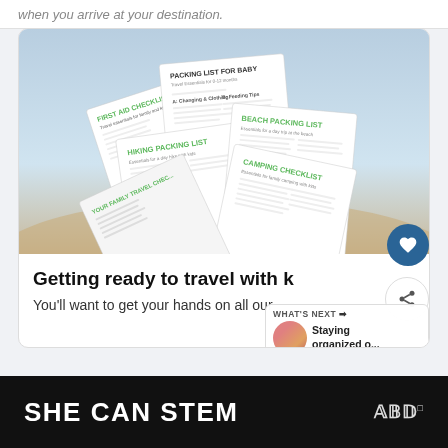when you arrive at your destination.
[Figure (photo): Fan of travel checklists including Packing List for Baby, First Aid Checklist, Hiking Packing List, Beach Packing List, Camping Checklist, and Your Family Travel Checklist, displayed on a sandy beach background.]
Getting ready to travel with k...
WHAT'S NEXT → Staying organized o...
You'll want to get your hands on all our
SHE CAN STEM